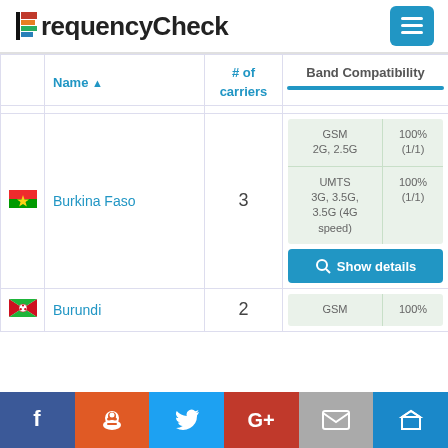FrequencyCheck
|  | Name ▲ | # of carriers | Band Compatibility |
| --- | --- | --- | --- |
| [Burkina Faso flag] | Burkina Faso | 3 | GSM 2G, 2.5G | 100% (1/1)
UMTS 3G, 3.5G, 3.5G (4G speed) | 100% (1/1) |
| [Burundi flag] | Burundi | 2 | GSM | 100% |